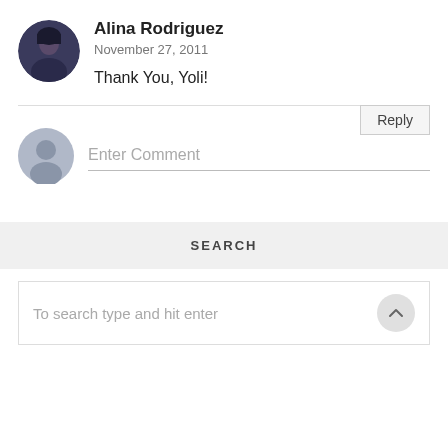[Figure (photo): Profile photo of Alina Rodriguez – woman with dark hair]
Alina Rodriguez
November 27, 2011
Thank You, Yoli!
Reply
[Figure (illustration): Generic grey avatar icon for comment input]
Enter Comment
SEARCH
To search type and hit enter